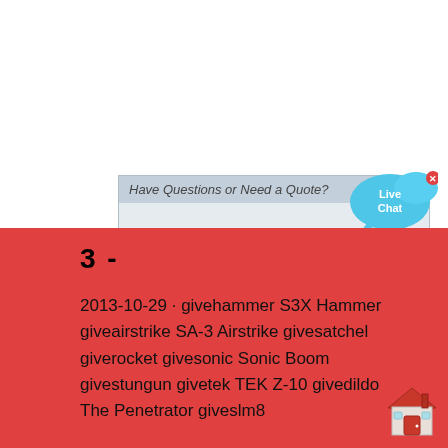[Figure (screenshot): Live chat popup with 'Have Questions or Need a Quote?' header, operator photo, and CHAT NOW button]
[Figure (infographic): Live Chat speech bubble icon in blue, top right]
3  -
2013-10-29 · givehammer S3X Hammer giveairstrike SA-3 Airstrike givesatchel giverocket givesonic Sonic Boom givestungun givetek TEK Z-10 givedildo The Penetrator giveslm8
[Figure (illustration): House/building icon bottom right of red section]